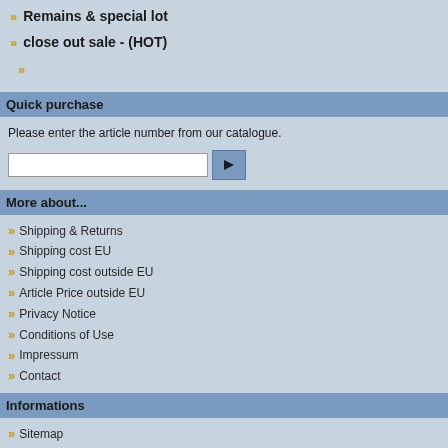» Remains & special lot
» close out sale - (HOT)
»
Quick purchase
Please enter the article number from our catalogue.
More about...
» Shipping & Returns
» Shipping cost EU
» Shipping cost outside EU
» Article Price outside EU
» Privacy Notice
» Conditions of Use
» Impressum
» Contact
Informations
» Sitemap
Search
Advanced search
Special offers
Graupner ? 47nF middel , #3584 , 10 pcs